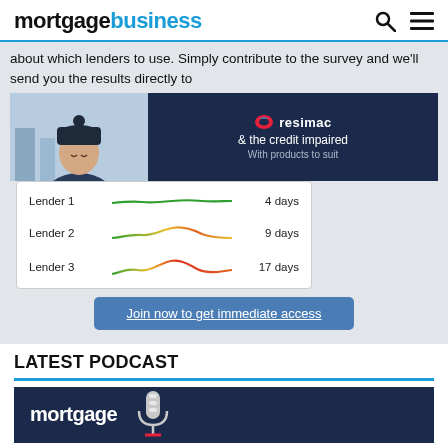mortgagebusiness
about which lenders to use. Simply contribute to the survey and we'll send you the results directly to
[Figure (screenshot): Resimac advertisement banner with dark navy background showing Resimac logo and text '& the credit impaired With products to suit']
[Figure (line-chart): Chart showing three lenders with colored line indicators: Lender 1 green line 4 days, Lender 2 green-yellow-orange line 9 days, Lender 3 green-yellow-orange-red line 17 days]
Join now to get immediate access
LATEST PODCAST
[Figure (logo): Mortgage podcast banner with dark navy background showing 'mortgage' text and microphone illustration]